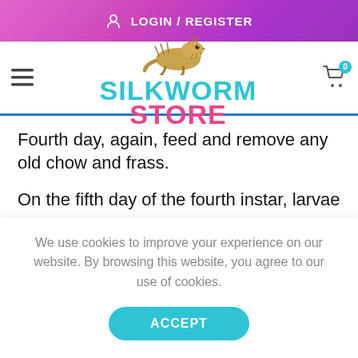LOGIN / REGISTER
[Figure (logo): Silkworm Store logo with bearded dragon illustration and text 'SILKWORM STORE' in cyan and pink]
Fourth day, again, feed and remove any old chow and frass.
On the fifth day of the fourth instar, larvae
We use cookies to improve your experience on our website. By browsing this website, you agree to our use of cookies.
ACCEPT